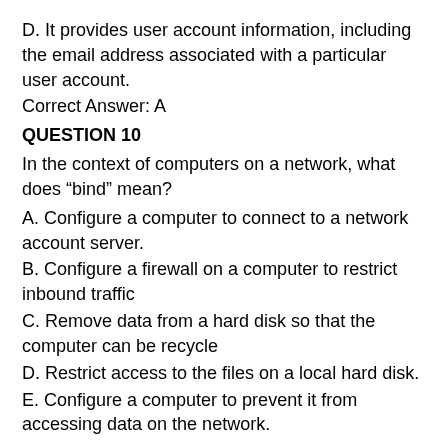D. It provides user account information, including the email address associated with a particular user account.
Correct Answer: A
QUESTION 10
In the context of computers on a network, what does “bind” mean?
A. Configure a computer to connect to a network account server.
B. Configure a firewall on a computer to restrict inbound traffic
C. Remove data from a hard disk so that the computer can be recycle
D. Restrict access to the files on a local hard disk.
E. Configure a computer to prevent it from accessing data on the network.